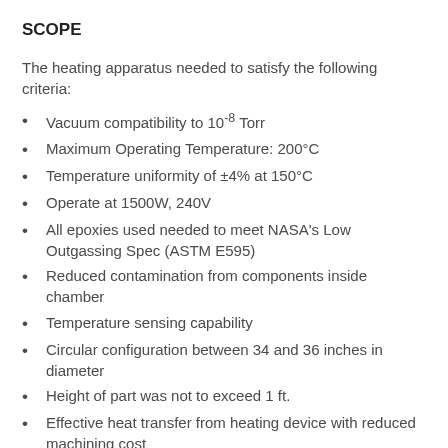SCOPE
The heating apparatus needed to satisfy the following criteria:
Vacuum compatibility to 10⁻⁸ Torr
Maximum Operating Temperature: 200°C
Temperature uniformity of ±4% at 150°C
Operate at 1500W, 240V
All epoxies used needed to meet NASA’s Low Outgassing Spec (ASTM E595)
Reduced contamination from components inside chamber
Temperature sensing capability
Circular configuration between 34 and 36 inches in diameter
Height of part was not to exceed 1 ft.
Effective heat transfer from heating device with reduced machining cost